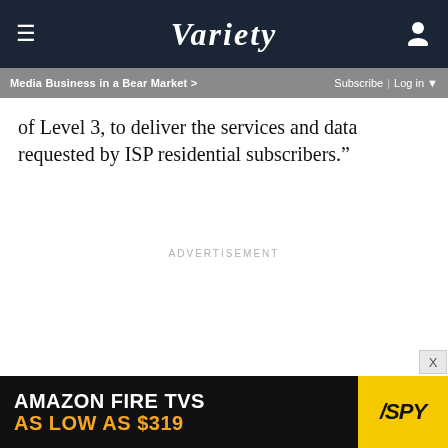VARIETY
Media Business in a Bear Market >
Subscribe | Log in
of Level 3, to deliver the services and data requested by ISP residential subscribers.”
ADVERTISEMENT
[Figure (other): Amazon Fire TVs advertisement banner: 'AMAZON FIRE TVS / AS LOW AS $319' with SPY logo on yellow background]